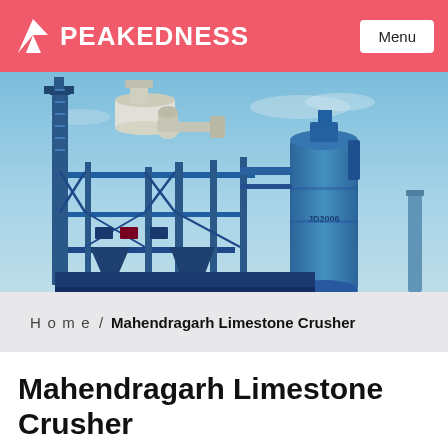PEAKEDNESS  Menu
[Figure (photo): Industrial limestone crusher / asphalt plant — large blue steel structure with conveyor towers, cylindrical tanks, and industrial equipment against a blue sky background. Text 'JD2006' visible on cylindrical tank.]
Home  /  Mahendragarh Limestone Crusher
Mahendragarh Limestone Crusher